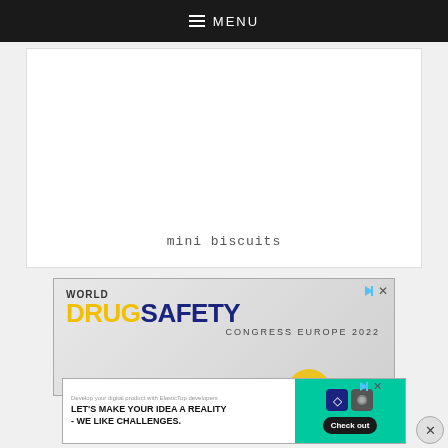MENU
[Figure (other): White content box with text 'mini biscuits' at the bottom center]
[Figure (other): Advertisement for World Drug Safety Congress Europe 2022 with yellow and dark blue text on grey gradient background]
[Figure (other): Advertisement: 'Develop your digital product with ElasticTop developers. LET'S MAKE YOUR IDEA A REALITY - WE LIKE CHALLENGES.' with teal background and Check out button]